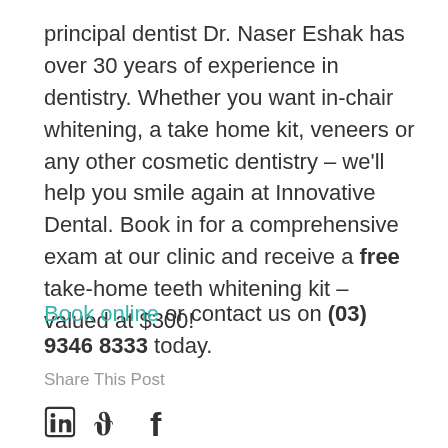principal dentist Dr. Naser Eshak has over 30 years of experience in dentistry. Whether you want in-chair whitening, a take home kit, veneers or any other cosmetic dentistry – we'll help you smile again at Innovative Dental. Book in for a comprehensive exam at our clinic and receive a free take-home teeth whitening kit – valued at $300!
Book online or contact us on (03) 9346 8333 today.
Share This Post